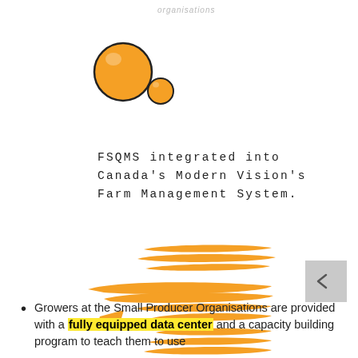organisations
[Figure (illustration): Two orange hand-drawn circles, one larger and one smaller, decorative logo-like element]
FSQMS integrated into Canada's Modern Vision's Farm Management System.
[Figure (illustration): Stack of orange hand-drawn diagonal brush strokes/squiggles arranged in rows as a decorative divider]
Growers at the Small Producer Organisations are provided with a fully equipped data center and a capacity building program to teach them to use